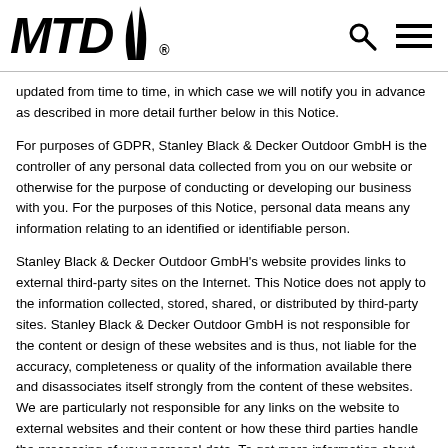MTD [logo]
updated from time to time, in which case we will notify you in advance as described in more detail further below in this Notice.
For purposes of GDPR, Stanley Black & Decker Outdoor GmbH is the controller of any personal data collected from you on our website or otherwise for the purpose of conducting or developing our business with you. For the purposes of this Notice, personal data means any information relating to an identified or identifiable person.
Stanley Black & Decker Outdoor GmbH's website provides links to external third-party sites on the Internet. This Notice does not apply to the information collected, stored, shared, or distributed by third-party sites. Stanley Black & Decker Outdoor GmbH is not responsible for the content or design of these websites and is thus, not liable for the accuracy, completeness or quality of the information available there and disassociates itself strongly from the content of these websites. We are particularly not responsible for any links on the website to external websites and their content or how these third parties handle the processing of your personal data. To get more information about such third-party policies and procedure we encourage you to review the privacy policies of these